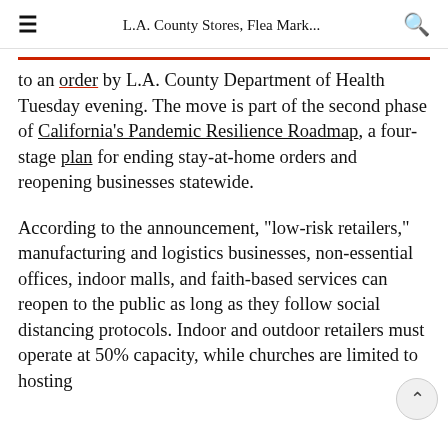L.A. County Stores, Flea Mark...
to an order by L.A. County Department of Health Tuesday evening. The move is part of the second phase of California's Pandemic Resilience Roadmap, a four-stage plan for ending stay-at-home orders and reopening businesses statewide.
According to the announcement, "low-risk retailers," manufacturing and logistics businesses, non-essential offices, indoor malls, and faith-based services can reopen to the public as long as they follow social distancing protocols. Indoor and outdoor retailers must operate at 50% capacity, while churches are limited to hosting either a maximum of 100 people or 25% of building